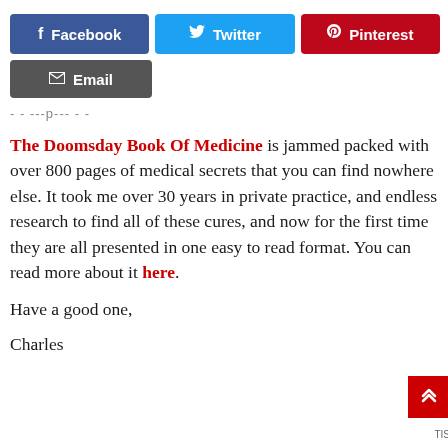[Figure (other): Social share buttons: Facebook (blue), Twitter (cyan), Pinterest (red), Email (dark grey)]
- - ---p--- - -
The Doomsday Book Of Medicine is jammed packed with over 800 pages of medical secrets that you can find nowhere else. It took me over 30 years in private practice, and endless research to find all of these cures, and now for the first time they are all presented in one easy to read format. You can read more about it here.
Have a good one,
Charles